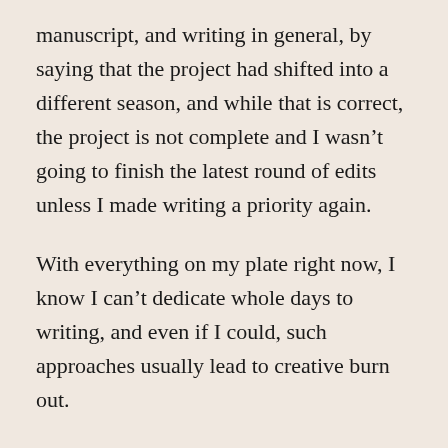manuscript, and writing in general, by saying that the project had shifted into a different season, and while that is correct, the project is not complete and I wasn't going to finish the latest round of edits unless I made writing a priority again.
With everything on my plate right now, I know I can't dedicate whole days to writing, and even if I could, such approaches usually lead to creative burn out.
So, instead, I'm taking my own advice and carving out a little time each morning to work on the manuscript.
The stage I'm at right now is applying the structural